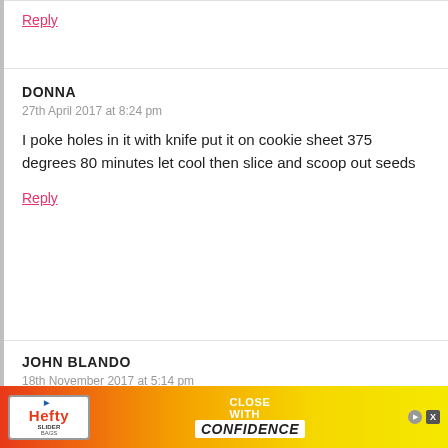Reply
DONNA
27th April 2017 at 8:24 pm
I poke holes in it with knife put it on cookie sheet 375 degrees 80 minutes let cool then slice and scoop out seeds
Reply
JOHN BLANDO
18th November 2017 at 5:14 pm
Hi, im sorry that cutting a spaghetti squash is diffi... but
[Figure (screenshot): Hefty Slider advertisement banner with logo, 'CLOSE WITH CONFIDENCE' text, play and close icons]